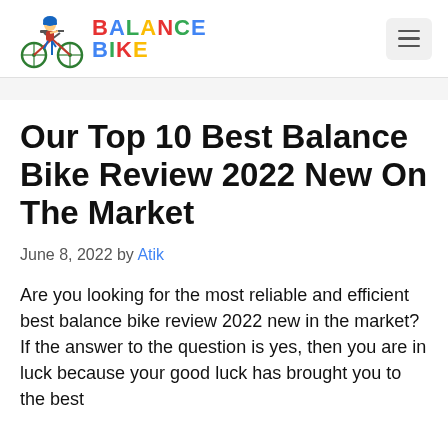BALANCE BIKE
Our Top 10 Best Balance Bike Review 2022 New On The Market
June 8, 2022 by Atik
Are you looking for the most reliable and efficient best balance bike review 2022 new in the market? If the answer to the question is yes, then you are in luck because your good luck has brought you to the best